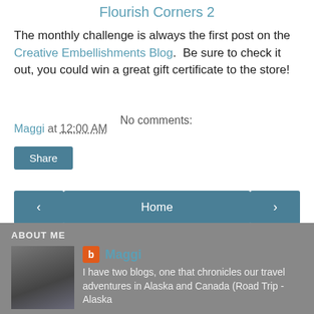Flourish Corners 2
The monthly challenge is always the first post on the Creative Embellishments Blog.  Be sure to check it out, you could win a great gift certificate to the store!
Maggi at 12:00 AM    No comments:
Share
‹  Home  ›
View web version
ABOUT ME
Maggi
I have two blogs, one that chronicles our travel adventures in Alaska and Canada (Road Trip - Alaska